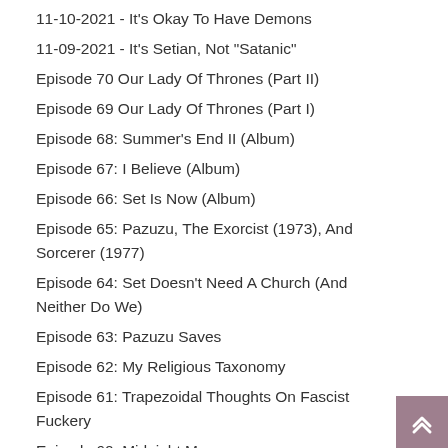11-10-2021 - It's Okay To Have Demons
11-09-2021 - It's Setian, Not "Satanic"
Episode 70 Our Lady Of Thrones (Part II)
Episode 69 Our Lady Of Thrones (Part I)
Episode 68: Summer's End II (Album)
Episode 67: I Believe (Album)
Episode 66: Set Is Now (Album)
Episode 65: Pazuzu, The Exorcist (1973), And Sorcerer (1977)
Episode 64: Set Doesn't Need A Church (And Neither Do We)
Episode 63: Pazuzu Saves
Episode 62: My Religious Taxonomy
Episode 61: Trapezoidal Thoughts On Fascist Fuckery
Episode 60: Midnight Mass
Episode 59: Shedding Skin With The Snake God